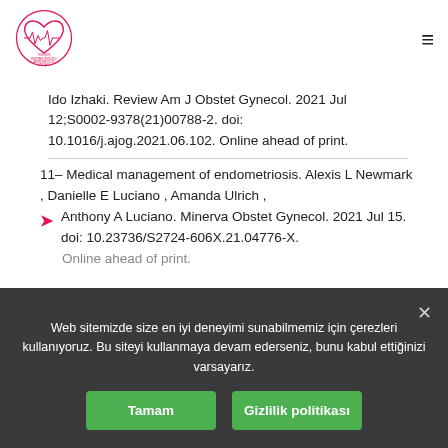Turkish Endometriosis & Adenomyosis Society logo and navigation
Ido Izhaki. Review Am J Obstet Gynecol. 2021 Jul 12;S0002-9378(21)00788-2. doi: 10.1016/j.ajog.2021.06.102. Online ahead of print.
11- Medical management of endometriosis. Alexis L Newmark , Danielle E Luciano , Amanda Ulrich , Anthony A Luciano. Minerva Obstet Gynecol. 2021 Jul 15. doi: 10.23736/S2724-606X.21.04776-X. Online ahead of print.
Web sitemizde size en iyi deneyimi sunabilmemiz için çerezleri kullanıyoruz. Bu siteyi kullanmaya devam ederseniz, bunu kabul ettiğinizi varsayarız.
Tamam
Gizlilik politikası